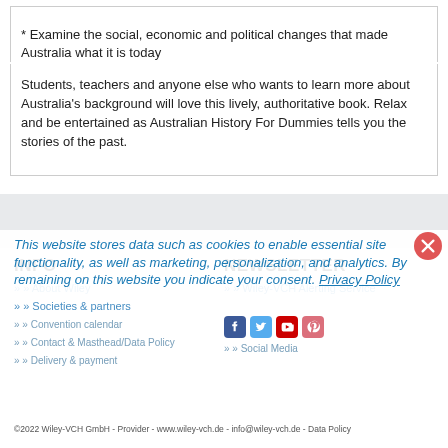* Examine the social, economic and political changes that made Australia what it is today
Students, teachers and anyone else who wants to learn more about Australia's background will love this lively, authoritative book. Relax and be entertained as Australian History For Dummies tells you the stories of the past.
INFO
NEWSLETTER
» About Wiley
» Wiley-VCH Alerting Service
» Societies & partners
» Convention calendar
» Contact & Masthead/Data Policy
» Social Media
» Delivery & payment
This website stores data such as cookies to enable essential site functionality, as well as marketing, personalization, and analytics. By remaining on this website you indicate your consent. Privacy Policy
©2022 Wiley-VCH GmbH - Provider - www.wiley-vch.de - info@wiley-vch.de - Data Policy